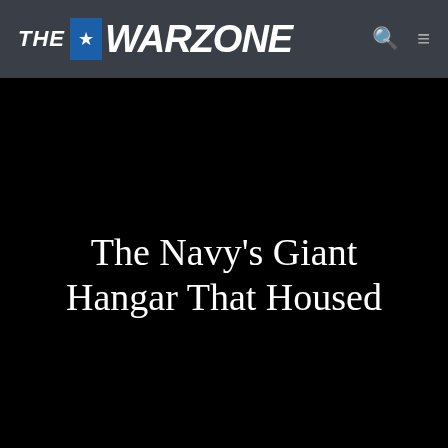THE ★ WARZONE
[Figure (photo): Large black hero image area, likely a photo of a Navy hangar or aircraft, rendered as a solid black rectangle in this screenshot.]
The Navy's Giant Hangar That Housed